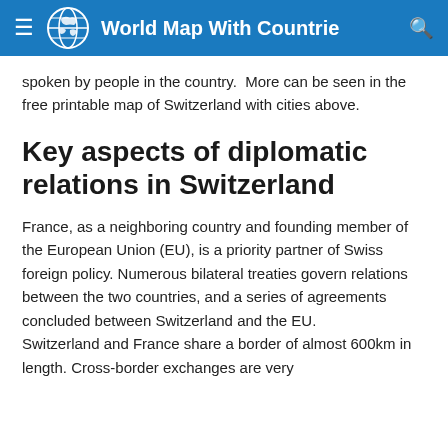World Map With Countries
spoken by people in the country.  More can be seen in the free printable map of Switzerland with cities above.
Key aspects of diplomatic relations in Switzerland
France, as a neighboring country and founding member of the European Union (EU), is a priority partner of Swiss foreign policy. Numerous bilateral treaties govern relations between the two countries, and a series of agreements concluded between Switzerland and the EU.
Switzerland and France share a border of almost 600km in length. Cross-border exchanges are very